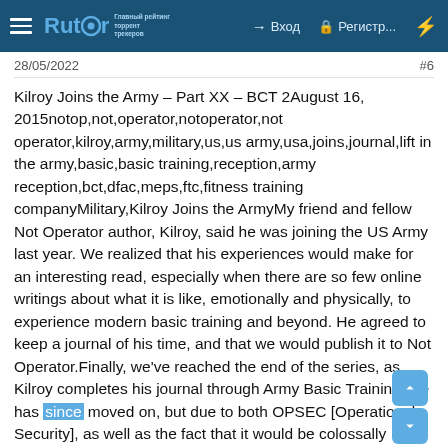Rutor — Вход — Регистр... — ⚡
28/05/2022 #6
Kilroy Joins the Army – Part XX – BCT 2August 16, 2015notop,not,operator,notoperator,not operator,kilroy,army,military,us,us army,usa,joins,journal,lift in the army,basic,basic training,reception,army reception,bct,dfac,meps,ftc,fitness training companyMilitary,Kilroy Joins the ArmyMy friend and fellow Not Operator author, Kilroy, said he was joining the US Army last year. We realized that his experiences would make for an interesting read, especially when there are so few online writings about what it is like, emotionally and physically, to experience modern basic training and beyond. He agreed to keep a journal of his time, and that we would publish it to Not Operator.Finally, we've reached the end of the series, as Kilroy completes his journal through Army Basic Training. He has since moved on, but due to both OPSEC [Operational Security], as well as the fact that it would be colossally boring, we will not be publishing his journal beyond BCT.All entries in the Kilroy Joins